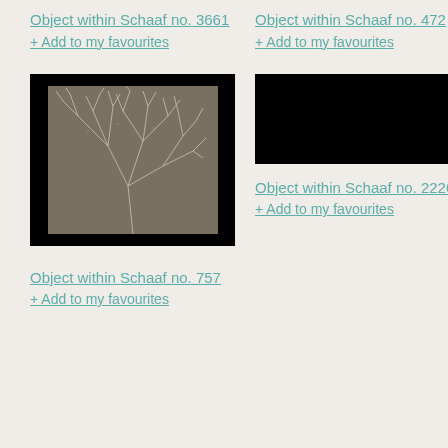Object within Schaaf no. 3661
+ Add to my favourites
Object within Schaaf no. 472
+ Add to my favourites
[Figure (photo): Photographic print showing delicate plant/botanical specimen with thin white branching stems against dark background, displayed within a black bordered frame]
Object within Schaaf no. 757
+ Add to my favourites
[Figure (photo): Black rectangle — image not loaded or redacted]
Object within Schaaf no. 2226
+ Add to my favourites